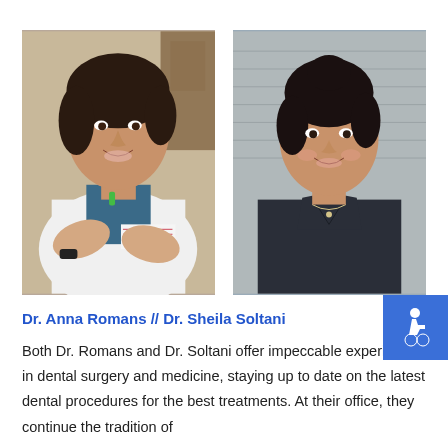[Figure (photo): Two side-by-side photos: left photo shows Dr. Anna Romans in a white lab coat with arms crossed, smiling; right photo shows Dr. Sheila Soltani in dark scrubs, smiling, with a grey siding background.]
[Figure (infographic): Accessibility wheelchair icon in a blue square background, positioned bottom-right of the photos.]
Dr. Anna Romans // Dr. Sheila Soltani
Both Dr. Romans and Dr. Soltani offer impeccable experience in dental surgery and medicine, staying up to date on the latest dental procedures for the best treatments. At their office, they continue the tradition of